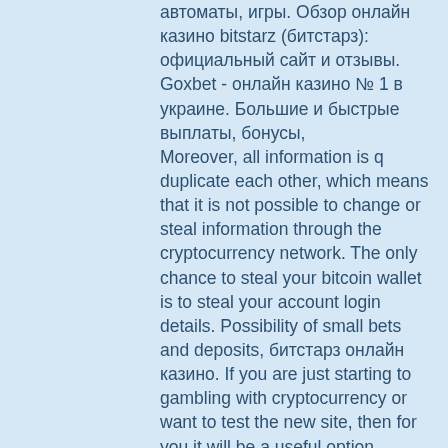автоматы, игры. Обзор онлайн казино bitstarz (битстарз): официальный сайт и отзывы. Goxbet - онлайн казино № 1 в украине. Большие и быстрые выплаты, бонусы,
Moreover, all information is q duplicate each other, which means that it is not possible to change or steal information through the cryptocurrency network. The only chance to steal your bitcoin wallet is to steal your account login details. Possibility of small bets and deposits, битстарз онлайн казино. If you are just starting to gambling with cryptocurrency or want to test the new site, then for you it will be a useful option.
Today's casino winners:
God of Wealth - 387.9 bch
Three Kingdoms - 680.7 btc
Cash Stampede - 17.7 eth
Red Dragon vs Blue Dragon - 16.6 bch
Sweet Treats - 27.6 dog